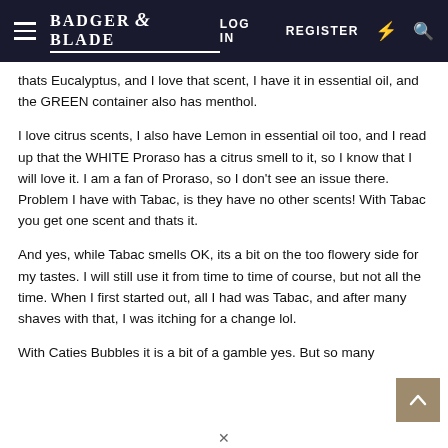Badger & Blade | LOG IN | REGISTER
thats Eucalyptus, and I love that scent, I have it in essential oil, and the GREEN container also has menthol.
I love citrus scents, I also have Lemon in essential oil too, and I read up that the WHITE Proraso has a citrus smell to it, so I know that I will love it. I am a fan of Proraso, so I don't see an issue there. Problem I have with Tabac, is they have no other scents! With Tabac you get one scent and thats it.
And yes, while Tabac smells OK, its a bit on the too flowery side for my tastes. I will still use it from time to time of course, but not all the time. When I first started out, all I had was Tabac, and after many shaves with that, I was itching for a change lol.
With Caties Bubbles it is a bit of a gamble yes. But so many